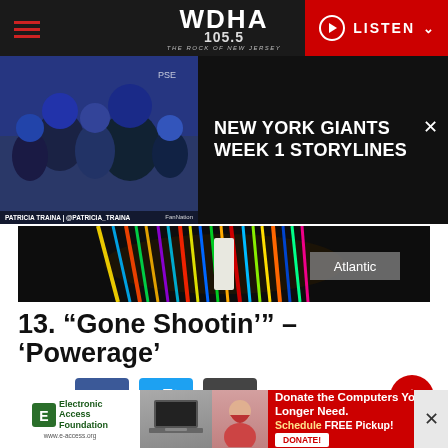[Figure (screenshot): WDHA 105.5 The Rock of New Jersey website header with hamburger menu, logo, and red LISTEN button]
[Figure (screenshot): Video thumbnail of New York Giants players with caption 'PATRICIA TRAINA | @PATRICIA_TRAINA' and text overlay 'NEW YORK GIANTS WEEK 1 STORYLINES' with close X button]
[Figure (photo): Advertisement image showing colorful network cables/wires with 'Atlantic' label overlay]
13. “Gone Shootin’” – ‘Powerage’
[Figure (infographic): Share buttons row: Share label, Facebook (blue f), Twitter (blue bird), and link icon (dark)]
AC/DC ought to have a collective PhD in writing amazing grooves. One of their finest
[Figure (screenshot): Bottom advertisement for Electronic Access Foundation: Donate the Computers You No Longer Need. Schedule FREE Pickup! with DONATE button and close X]